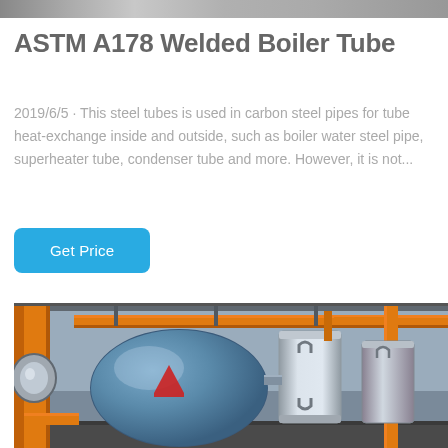[Figure (photo): Top portion of industrial boiler or manufacturing facility image (partially cropped at top of page)]
ASTM A178 Welded Boiler Tube
2019/6/5 · This steel tubes is used in carbon steel pipes for tube heat-exchange inside and outside, such as boiler water steel pipe, superheater tube, condenser tube and more. However, it is not...
[Figure (other): Button labeled 'Get Price' with blue rounded rectangle background]
[Figure (photo): Industrial boiler facility interior showing large cylindrical boiler drum with orange pipes and silver pressure vessels]